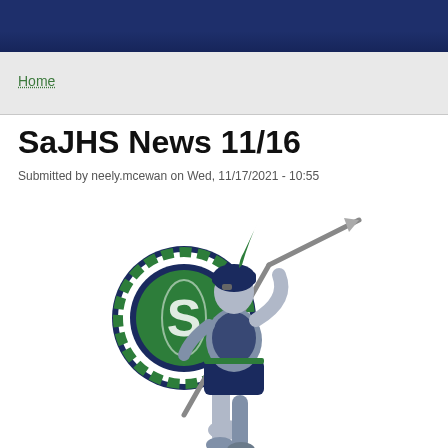Home
SaJHS News 11/16
Submitted by neely.mcewan on Wed, 11/17/2021 - 10:55
[Figure (illustration): Spartan warrior mascot logo in green, navy blue, and gray. The warrior holds a round shield with an 'S' on it and a spear, in an athletic forward-leaning stance.]